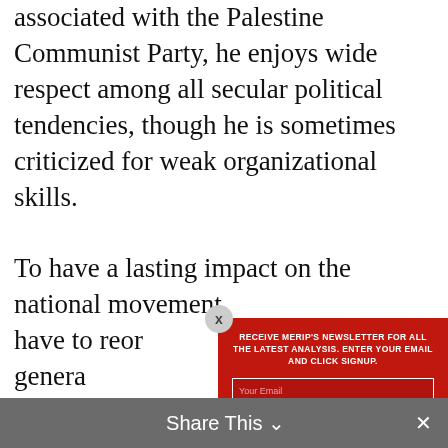associated with the Palestine Communist Party, he enjoys wide respect among all secular political tendencies, though he is sometimes criticized for weak organizational skills.
To have a lasting impact on the national movement, … have to reor… or genera… ppears immine… party factions… le in the nat… t articula… — a progra… pels a mass fo… ont. The qu… e time
[Figure (screenshot): Modal popup overlay with red background. Contains newsletter signup prompt: 'RECEIVE MERIP'S NEWSLETTER FOR ALL THE LATEST ANALYSIS. ENTER YOUR EMAIL AND CLICK SIGNUP.' with email input field and Sign Up button. A close button (x) appears in the top-left corner of the popup.]
Share This ∨